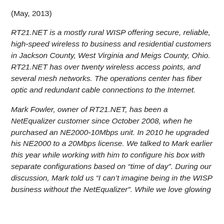(May, 2013)
RT21.NET is a mostly rural WISP offering secure, reliable, high-speed wireless to business and residential customers in Jackson County, West Virginia and Meigs County, Ohio. RT21.NET has over twenty wireless access points, and several mesh networks. The operations center has fiber optic and redundant cable connections to the Internet.
Mark Fowler, owner of RT21.NET, has been a NetEqualizer customer since October 2008, when he purchased an NE2000-10Mbps unit. In 2010 he upgraded his NE2000 to a 20Mbps license. We talked to Mark earlier this year while working with him to configure his box with separate configurations based on “time of day”. During our discussion, Mark told us “I can’t imagine being in the WISP business without the NetEqualizer”. While we love glowing